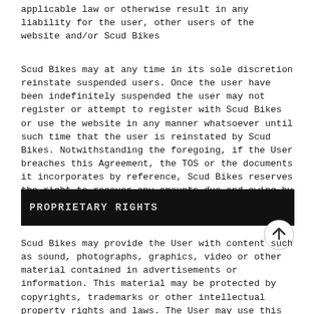applicable law or otherwise result in any liability for the user, other users of the website and/or Scud Bikes
Scud Bikes may at any time in its sole discretion reinstate suspended users. Once the user have been indefinitely suspended the user may not register or attempt to register with Scud Bikes or use the website in any manner whatsoever until such time that the user is reinstated by Scud Bikes. Notwithstanding the foregoing, if the User breaches this Agreement, the TOS or the documents it incorporates by reference, Scud Bikes reserves the right to recover any amounts due and owing by the User to Scud Bikes and to take strict legal action as Scud Bikes deems necessary.
PROPRIETARY RIGHTS
Scud Bikes may provide the User with content such as sound, photographs, graphics, video or other material contained in advertisements or information. This material may be protected by copyrights, trademarks or other intellectual property rights and laws. The User may use this material only as expressly authorized by Scud Bikes and shall not copy, transmit or create